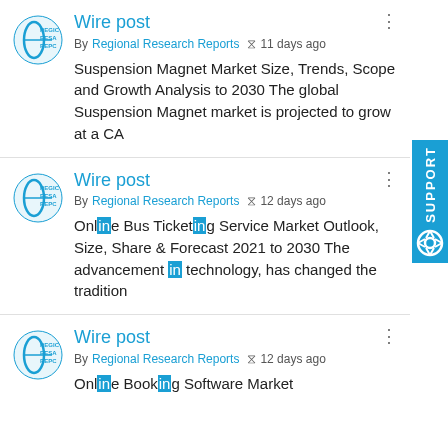[Figure (logo): Regional Research Reports logo - teal circular design with REGIC RESA REPC text]
Wire post
By Regional Research Reports  11 days ago
Suspension Magnet Market Size, Trends, Scope and Growth Analysis to 2030 The global Suspension Magnet market is projected to grow at a CA
[Figure (logo): Regional Research Reports logo - teal circular design with REGIC RESA REPC text]
Wire post
By Regional Research Reports  12 days ago
Online Bus Ticketing Service Market Outlook, Size, Share & Forecast 2021 to 2030 The advancement in technology, has changed the tradition
[Figure (logo): Regional Research Reports logo - teal circular design with REGIC RESA REPC text]
Wire post
By Regional Research Reports  12 days ago
Online Booking Software Market